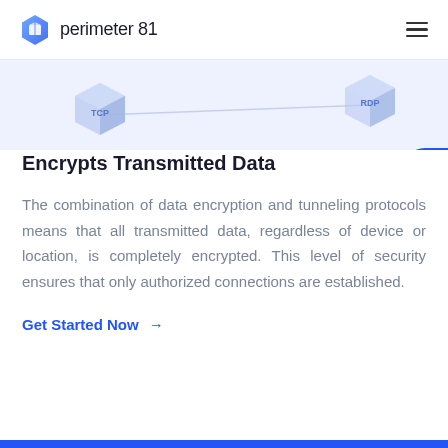perimeter 81
[Figure (illustration): Partial view of 3D isometric protocol cubes (TCP on left, RDP on right) on a light blue background]
Encrypts Transmitted Data
The combination of data encryption and tunneling protocols means that all transmitted data, regardless of device or location, is completely encrypted. This level of security ensures that only authorized connections are established.
Get Started Now →